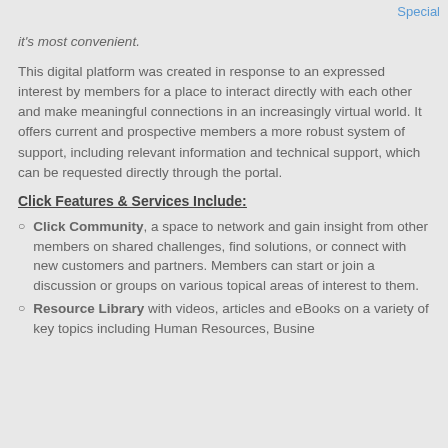Special
it's most convenient.
This digital platform was created in response to an expressed interest by members for a place to interact directly with each other and make meaningful connections in an increasingly virtual world. It offers current and prospective members a more robust system of support, including relevant information and technical support, which can be requested directly through the portal.
Click Features & Services Include:
Click Community, a space to network and gain insight from other members on shared challenges, find solutions, or connect with new customers and partners. Members can start or join a discussion or groups on various topical areas of interest to them.
Resource Library with videos, articles and eBooks on a variety of key topics including Human Resources, Busine...